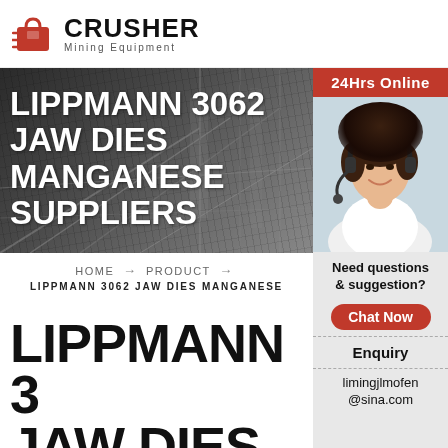[Figure (logo): Crusher Mining Equipment logo with red shopping bag icon and bold CRUSHER text]
[Figure (photo): Dark industrial mining equipment banner background with large white text: LIPPMANN 3062 JAW DIES MANGANESE SUPPLIERS]
[Figure (photo): Customer service sidebar with 24Hrs Online header in red, photo of woman with headset, chat/enquiry contact panel]
HOME → PRODUCT → LIPPMANN 3062 JAW DIES MANGANESE
LIPPMANN 3 JAW DIES